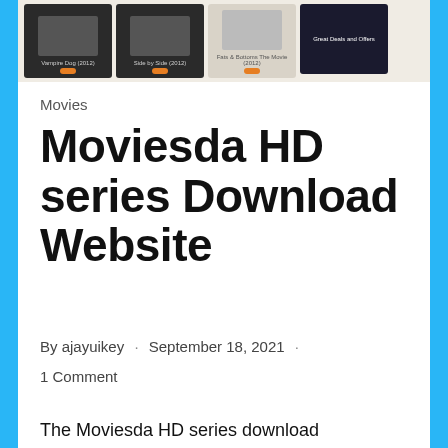[Figure (screenshot): Screenshot of a movie streaming/download website showing movie thumbnails including 'Vampire Dog (2012)', 'Side by Side (2012)', 'Fats & Bottoms The Movie (2012)', and an ad panel showing 'Great Deals and Offers']
Movies
Moviesda HD series Download Website
By ajayuikey · September 18, 2021 · 1 Comment
The Moviesda HD series download